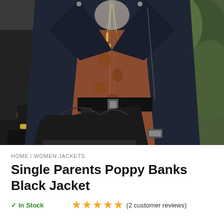[Figure (photo): Woman wearing a dark navy/black leather biker jacket open over a rust/terracotta floral dress with a wide black belt, holding a black handbag. Another person visible to the left. Green foliage visible in background.]
HOME / WOMEN JACKETS
Single Parents Poppy Banks Black Jacket
✓ In Stock   ★★★★★ (2 customer reviews)